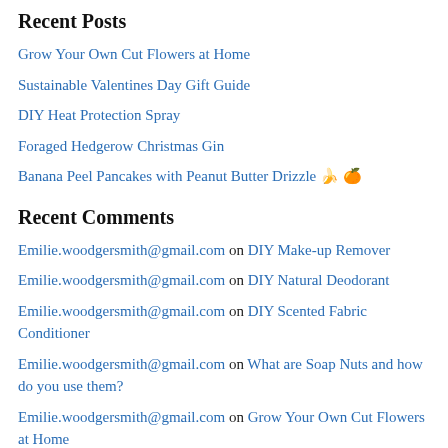Recent Posts
Grow Your Own Cut Flowers at Home
Sustainable Valentines Day Gift Guide
DIY Heat Protection Spray
Foraged Hedgerow Christmas Gin
Banana Peel Pancakes with Peanut Butter Drizzle 🍌 🍊
Recent Comments
Emilie.woodgersmith@gmail.com on DIY Make-up Remover
Emilie.woodgersmith@gmail.com on DIY Natural Deodorant
Emilie.woodgersmith@gmail.com on DIY Scented Fabric Conditioner
Emilie.woodgersmith@gmail.com on What are Soap Nuts and how do you use them?
Emilie.woodgersmith@gmail.com on Grow Your Own Cut Flowers at Home